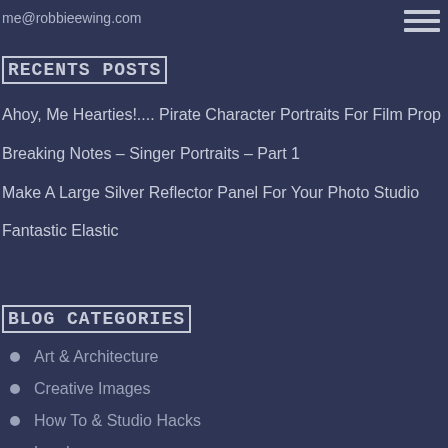me@robbieewing.com
RECENTS POSTS
Ahoy, Me Hearties!.... Pirate Character Portraits For Film Prop
Breaking Notes – Singer Portraits – Part 1
Make A Large Silver Reflector Panel For Your Photo Studio
Fantastic Elastic
BLOG CATEGORIES
Art & Architecture
Creative Images
How To & Studio Hacks
Landscape
London
Performance Arts